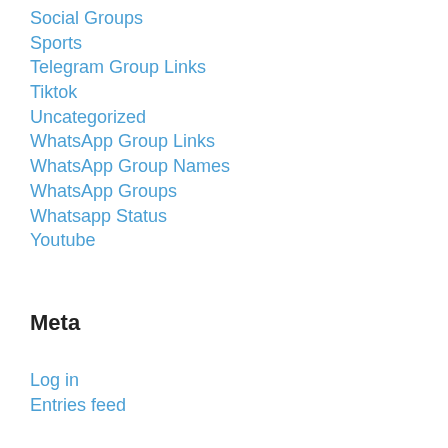Social Groups
Sports
Telegram Group Links
Tiktok
Uncategorized
WhatsApp Group Links
WhatsApp Group Names
WhatsApp Groups
Whatsapp Status
Youtube
Meta
Log in
Entries feed